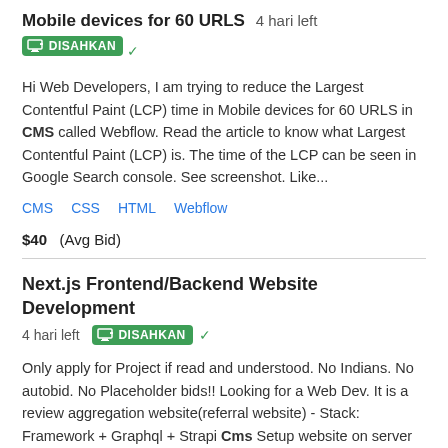Mobile devices for 60 URLS  4 hari left
DISAHKAN
Hi Web Developers, I am trying to reduce the Largest Contentful Paint (LCP) time in Mobile devices for 60 URLS in CMS called Webflow. Read the article to know what Largest Contentful Paint (LCP) is. The time of the LCP can be seen in Google Search console. See screenshot. Like...
CMS  CSS  HTML  Webflow
$40  (Avg Bid)
Next.js Frontend/Backend Website Development
4 hari left  DISAHKAN
Only apply for Project if read and understood. No Indians. No autobid. No Placeholder bids!! Looking for a Web Dev. It is a review aggregation website(referral website) - Stack: Framework + Graphql + Strapi Cms Setup website on server responsive o Mobile first o AMP first o SSR o RLT...